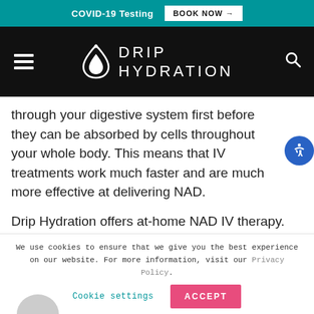COVID-19 Testing  BOOK NOW →
[Figure (logo): Drip Hydration logo with drop icon and text DRIP HYDRATION on black navigation bar]
through your digestive system first before they can be absorbed by cells throughout your whole body. This means that IV treatments work much faster and are much more effective at delivering NAD.
Drip Hydration offers at-home NAD IV therapy. Contact Drip Hydration by visiting
We use cookies to ensure that we give you the best experience on our website. For more information, visit our Privacy Policy.
Cookie settings   ACCEPT